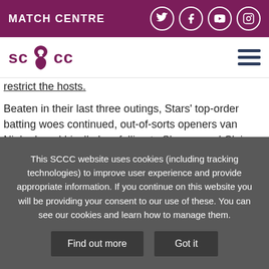MATCH CENTRE
[Figure (logo): SCCC logo with lion emblem]
restrict the hosts.
Beaten in their last three outings, Stars' top-order batting woes continued, out-of-sorts openers van Niekerk and Liselle Lee falling to Sharma and Claire Nicholas respectively without scoring.
Taylor found a willing ally in Sciver and the third wicket pair
This SCCC website uses cookies (including tracking technologies) to improve user experience and provide appropriate information. If you continue on this website you will be providing your consent to our use of these. You can see our cookies and learn how to manage them.